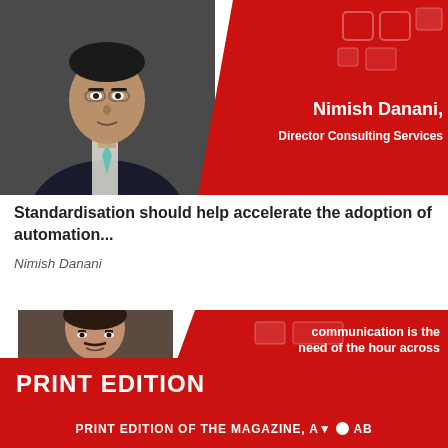[Figure (photo): Photo of Nimish Danani in a suit with red background graphic showing name and title: Nimish Danani, Director Consulting Services]
Standardisation should help accelerate the adoption of automation...
Nimish Danani
[Figure (photo): Photo of a man on the left, red background on right with text: communication is the need of the hour across all enterprise boundaries']
PRINT EDITION
PRINT EDITION OF THE MAGAZINE, A▼ ● AB